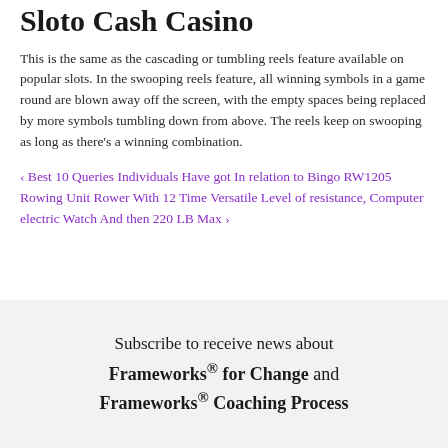Sloto Cash Casino
This is the same as the cascading or tumbling reels feature available on popular slots. In the swooping reels feature, all winning symbols in a game round are blown away off the screen, with the empty spaces being replaced by more symbols tumbling down from above. The reels keep on swooping as long as there’s a winning combination.
‹ Best 10 Queries Individuals Have got In relation to Bingo RW1205 Rowing Unit Rower With 12 Time Versatile Level of resistance, Computer electric Watch And then 220 LB Max ›
Subscribe to receive news about Frameworks® for Change and Frameworks® Coaching Process